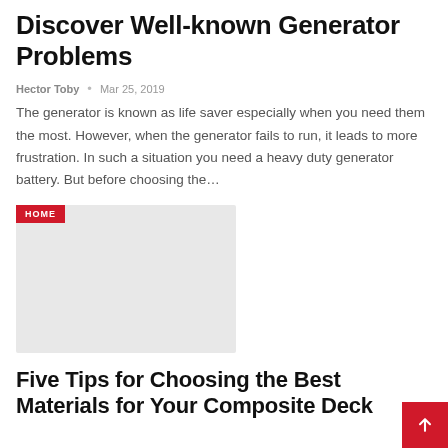Discover Well-known Generator Problems
Hector Toby  •  Mar 25, 2019
The generator is known as life saver especially when you need them the most. However, when the generator fails to run, it leads to more frustration. In such a situation you need a heavy duty generator battery. But before choosing the…
[Figure (photo): Gray placeholder image with a HOME category badge in red in the upper left corner]
Five Tips for Choosing the Best Materials for Your Composite Deck